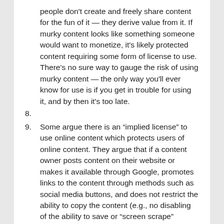people don't create and freely share content for the fun of it — they derive value from it. If murky content looks like something someone would want to monetize, it's likely protected content requiring some form of license to use. There's no sure way to gauge the risk of using murky content — the only way you'll ever know for use is if you get in trouble for using it, and by then it's too late.
8.
9. Some argue there is an “implied license” to use online content which protects users of online content. They argue that if a content owner posts content on their website or makes it available through Google, promotes links to the content through methods such as social media buttons, and does not restrict the ability to copy the content (e.g., no disabling of the ability to save or “screen scrape” content), the content owner is implying that it’s OK to reuse it. The biggest issue with the “implied license” argument is that like fair use there’s no easy way to know if it applies or not — you have to make a